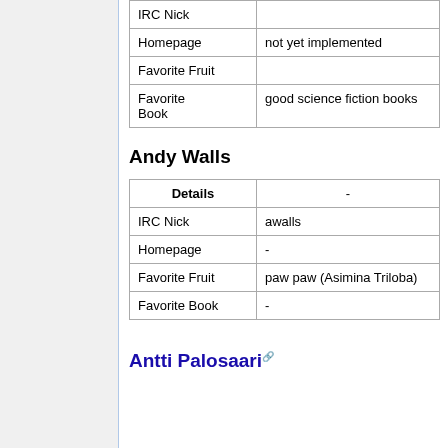| IRC Nick |  |
| Homepage | not yet implemented |
| Favorite Fruit |  |
| Favorite Book | good science fiction books |
Andy Walls
| Details | - |
| --- | --- |
| IRC Nick | awalls |
| Homepage | - |
| Favorite Fruit | paw paw (Asimina Triloba) |
| Favorite Book | - |
Antti Palosaari